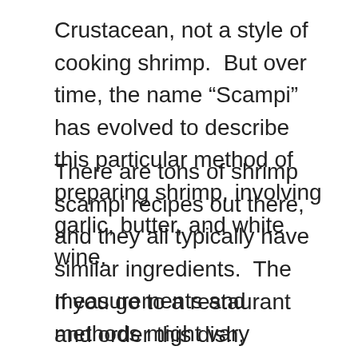Crustacean, not a style of cooking shrimp. But over time, the name “Scampi” has evolved to describe this particular method of preparing shrimp, involving garlic, butter, and white wine.
There are tons of shrimp scampi recipes out there, and they all typically have similar ingredients. The measurements and methods might vary slightly, but the flavor is always very similar… delicious.
If you go to a restaurant and order this dish, chances are it will be drowning in lots of butter or oil (it makes it delicious, but maybe not the most healthy or calorie friendly option). I have…